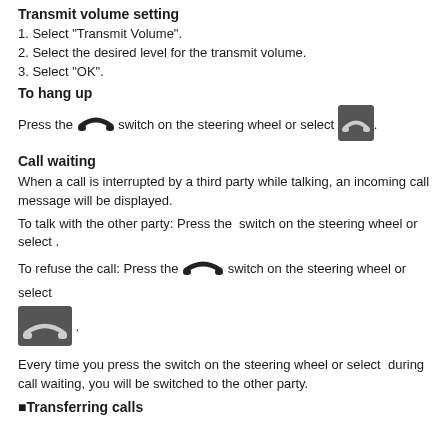Transmit volume setting
1. Select "Transmit Volume".
2. Select the desired level for the transmit volume.
3. Select "OK".
To hang up
Press the [hang-up switch icon] switch on the steering wheel or select [hang-up button icon].
Call waiting
When a call is interrupted by a third party while talking, an incoming call message will be displayed.
To talk with the other party: Press the switch on the steering wheel or select .
To refuse the call: Press the [hang-up icon] switch on the steering wheel or select [hang-up button icon].
Every time you press the switch on the steering wheel or select during call waiting, you will be switched to the other party.
■Transferring calls